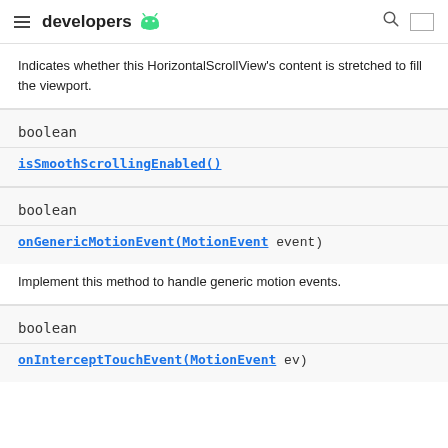developers
Indicates whether this HorizontalScrollView's content is stretched to fill the viewport.
boolean
isSmoothScrollingEnabled()
boolean
onGenericMotionEvent(MotionEvent event)
Implement this method to handle generic motion events.
boolean
onInterceptTouchEvent(MotionEvent ev)